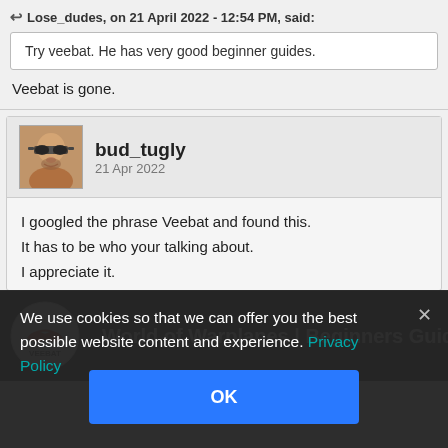Lose_dudes, on 21 April 2022 - 12:54 PM, said:
Try veebat. He has very good beginner guides.
Veebat is gone.
bud_tugly
21 Apr 2022
I googled the phrase Veebat and found this.
It has to be who your talking about.
I appreciate it.
[Figure (screenshot): YouTube video thumbnail showing World of Warplanes | Beginners Guide Pt I | New... with Veebat logo]
We use cookies so that we can offer you the best possible website content and experience. Privacy Policy
OK